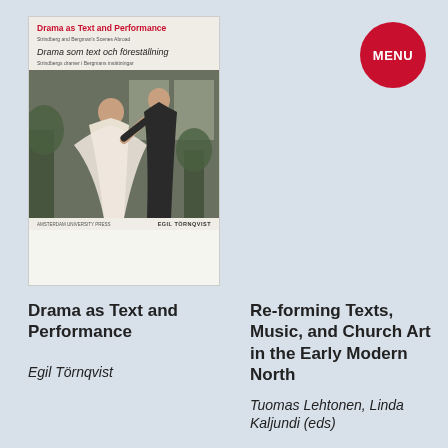[Figure (illustration): Book cover for 'Drama as Text and Performance' showing theatrical performance photo and title in red and black]
[Figure (logo): Red circular MENU button in top right corner]
Drama as Text and Performance
Egil Törnqvist
Re-forming Texts, Music, and Church Art in the Early Modern North
Tuomas Lehtonen, Linda Kaljundi (eds)